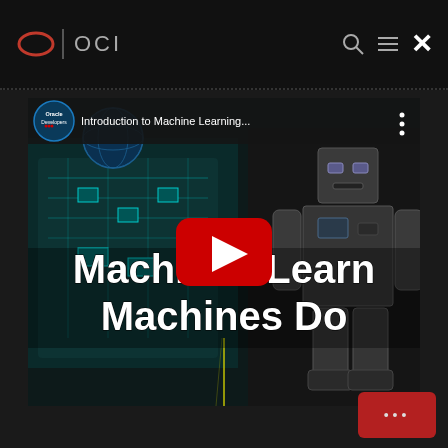OCI
[Figure (screenshot): YouTube video thumbnail showing a robot with circuit board background and text 'Machines Learn Machines Do'. Video title bar shows 'Oracle Developers' channel and 'Introduction to Machine Learning...' title. A red YouTube play button is centered on the video.]